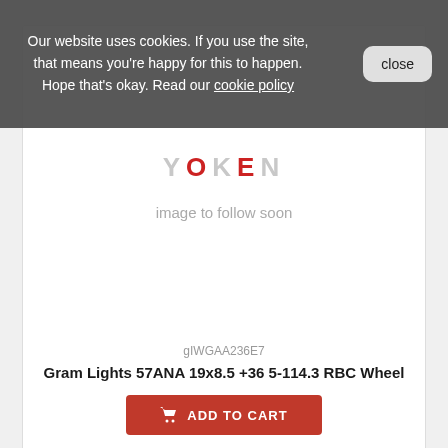[Figure (screenshot): Product listing page for automotive wheels with cookie consent banner overlay. Shows a Yokohama/Tokyorigen branded placeholder image area with 'image to follow soon' text, product SKU gIWGAA236E7, product name 'Gram Lights 57ANA 19x8.5 +36 5-114.3 RBC Wheel', an Add to Cart button in red, and a partial second product card at bottom with PayPal payment bar and price badge showing £700+.]